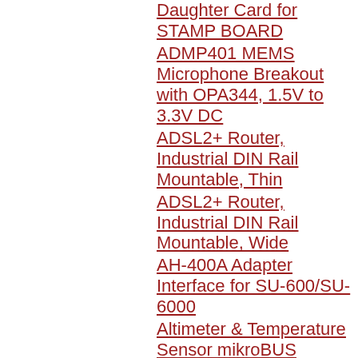Daughter Card for STAMP BOARD
ADMP401 MEMS Microphone Breakout with OPA344, 1.5V to 3.3V DC
ADSL2+ Router, Industrial DIN Rail Mountable, Thin
ADSL2+ Router, Industrial DIN Rail Mountable, Wide
AH-400A Adapter Interface for SU-600/SU-6000
Altimeter & Temperature Sensor mikroBUS Module (Altitude click)
Altitude/Pressure Sensor Board, MPL3115A2, 3.3V
AM3352 CPU Module, 1.27mm Pitch, 256MB NAND, 256MB DDR3, Gb PHY